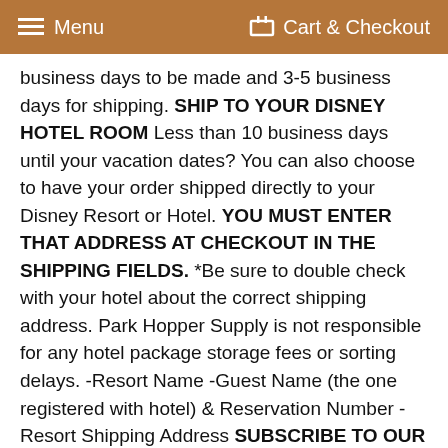Menu   Cart & Checkout
business days to be made and 3-5 business days for shipping. SHIP TO YOUR DISNEY HOTEL ROOM Less than 10 business days until your vacation dates? You can also choose to have your order shipped directly to your Disney Resort or Hotel. YOU MUST ENTER THAT ADDRESS AT CHECKOUT IN THE SHIPPING FIELDS. *Be sure to double check with your hotel about the correct shipping address. Park Hopper Supply is not responsible for any hotel package storage fees or sorting delays. -Resort Name -Guest Name (the one registered with hotel) & Reservation Number -Resort Shipping Address SUBSCRIBE TO OUR NEWSLETTER Head to https://mailchi.mp/eb3f2c7aa9f9/parkhoppersupply to subscribe to our newsletter and get a FREE gift with your first purchase! LOOKING FOR SIMILAR ITEMS? Use the "Search Shop" Option to search characters, themes, parks